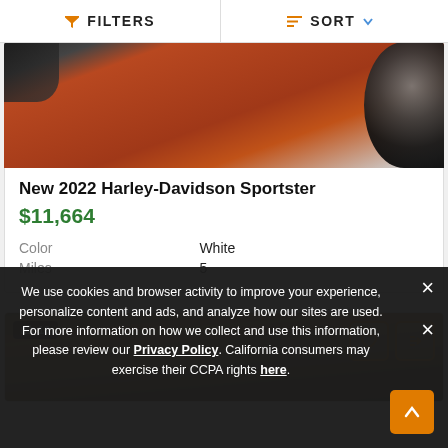FILTERS   SORT
[Figure (photo): Photo of a Harley-Davidson motorcycle parked on red brick pavement, showing wheels and frame from above]
New 2022 Harley-Davidson Sportster
$11,664
|  |  |
| --- | --- |
| Color | White |
| Miles | 5 |
[Figure (photo): Photo of a motorcycle listing with outdoor background, showing 10 images badge and action buttons]
We use cookies and browser activity to improve your experience, personalize content and ads, and analyze how our sites are used. For more information on how we collect and use this information, please review our Privacy Policy. California consumers may exercise their CCPA rights here.